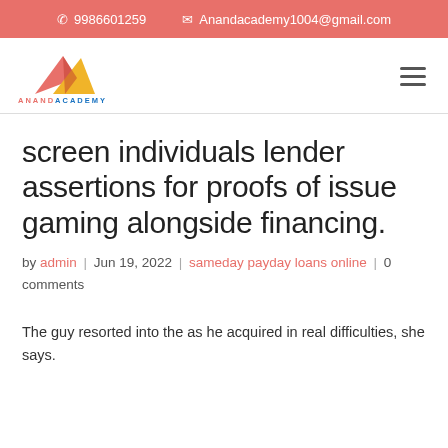📞 9986601259   ✉ Anandacademy1004@gmail.com
[Figure (logo): Anand Academy logo with red and yellow mountain triangles and blue/red brand text ANANDACADEMY]
screen individuals lender assertions for proofs of issue gaming alongside financing.
by admin | Jun 19, 2022 | sameday payday loans online | 0 comments
The guy resorted into the as he acquired in real difficulties, she says.